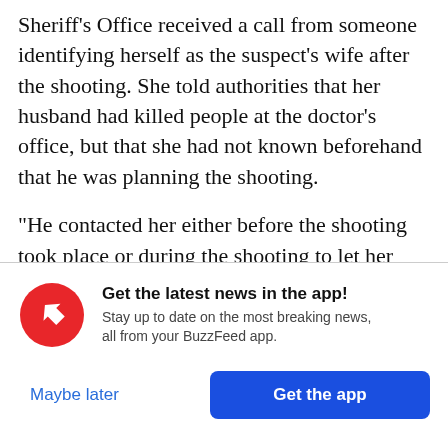Sheriff's Office received a call from someone identifying herself as the suspect's wife after the shooting. She told authorities that her husband had killed people at the doctor's office, but that she had not known beforehand that he was planning the shooting.
"He contacted her either before the shooting took place or during the shooting to let her know what he had done," he said.
[Figure (logo): BuzzFeed app promotion banner with red circular logo containing a white upward arrow, text 'Get the latest news in the app!' with subtitle 'Stay up to date on the most breaking news, all from your BuzzFeed app.' and two buttons: 'Maybe later' and 'Get the app']